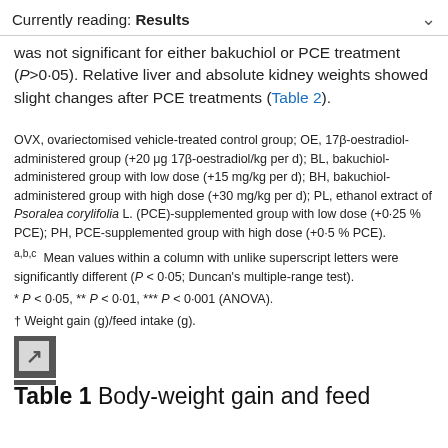Currently reading: Results
was not significant for either bakuchiol or PCE treatment (P>0·05). Relative liver and absolute kidney weights showed slight changes after PCE treatments (Table 2).
OVX, ovariectomised vehicle-treated control group; OE, 17β-oestradiol-administered group (+20 μg 17β-oestradiol/kg per d); BL, bakuchiol-administered group with low dose (+15 mg/kg per d); BH, bakuchiol-administered group with high dose (+30 mg/kg per d); PL, ethanol extract of Psoralea corylifolia L. (PCE)-supplemented group with low dose (+0·25 % PCE); PH, PCE-supplemented group with high dose (+0·5 % PCE).
a,b,c Mean values within a column with unlike superscript letters were significantly different (P < 0·05; Duncan's multiple-range test).
* P < 0·05, ** P < 0·01, *** P < 0·001 (ANOVA).
† Weight gain (g)/feed intake (g).
Table 1 Body-weight gain and feed